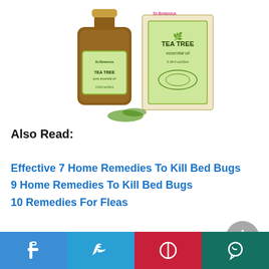[Figure (photo): St.Botanica Tea Tree pure essential oil bottle (amber glass, 0.34 fl oz/10ml) with matching product box featuring a light green label and tea tree plant illustration]
Also Read:
Effective 7 Home Remedies To Kill Bed Bugs
9 Home Remedies To Kill Bed Bugs
10 Remedies For Fleas
8. Black Walnut
[Figure (infographic): Social media share bar with Facebook, Twitter, Pinterest, and WhatsApp buttons]